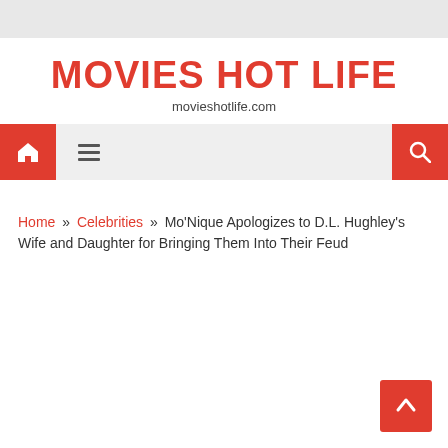MOVIES HOT LIFE
movieshotlife.com
[Figure (screenshot): Navigation bar with red home button icon, hamburger menu icon, and red search button icon on gray background]
Home » Celebrities » Mo'Nique Apologizes to D.L. Hughley's Wife and Daughter for Bringing Them Into Their Feud